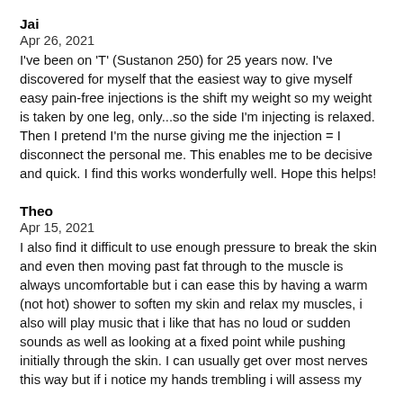Jai
Apr 26, 2021
I've been on 'T' (Sustanon 250) for 25 years now. I've discovered for myself that the easiest way to give myself easy pain-free injections is the shift my weight so my weight is taken by one leg, only...so the side I'm injecting is relaxed. Then I pretend I'm the nurse giving me the injection = I disconnect the personal me. This enables me to be decisive and quick. I find this works wonderfully well. Hope this helps!
Theo
Apr 15, 2021
I also find it difficult to use enough pressure to break the skin and even then moving past fat through to the muscle is always uncomfortable but i can ease this by having a warm (not hot) shower to soften my skin and relax my muscles, i also will play music that i like that has no loud or sudden sounds as well as looking at a fixed point while pushing initially through the skin. I can usually get over most nerves this way but if i notice my hands trembling i will assess my